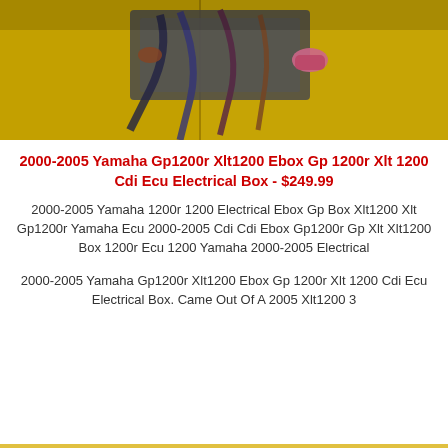[Figure (photo): Photo of a Yamaha electrical box/ECU with yellow casing and wiring visible]
2000-2005 Yamaha Gp1200r Xlt1200 Ebox Gp 1200r Xlt 1200 Cdi Ecu Electrical Box - $249.99
2000-2005 Yamaha 1200r 1200 Electrical Ebox Gp Box Xlt1200 Xlt Gp1200r Yamaha Ecu 2000-2005 Cdi Cdi Ebox Gp1200r Gp Xlt Xlt1200 Box 1200r Ecu 1200 Yamaha 2000-2005 Electrical
2000-2005 Yamaha Gp1200r Xlt1200 Ebox Gp 1200r Xlt 1200 Cdi Ecu Electrical Box. Came Out Of A 2005 Xlt1200 3